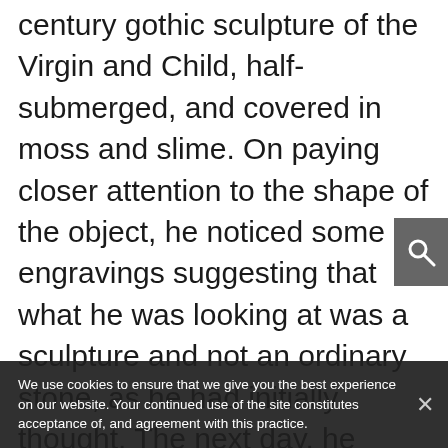century gothic sculpture of the Virgin and Child, half-submerged, and covered in moss and slime. On paying closer attention to the shape of the object, he noticed some engravings suggesting that what he was looking at was a sculpture and not an ordinary stone, as he had initially thought. The next day, he communicated the find to the Association for the Protection of Galician Cultural Heritage, which immediately alerted the authorities; the Galician Government then removed the sculpture and placed it in the Pilgrim Museum to study it further.
We use cookies to ensure that we give you the best experience on our website. Your continued use of the site constitutes acceptance of, and agreement with this practice.